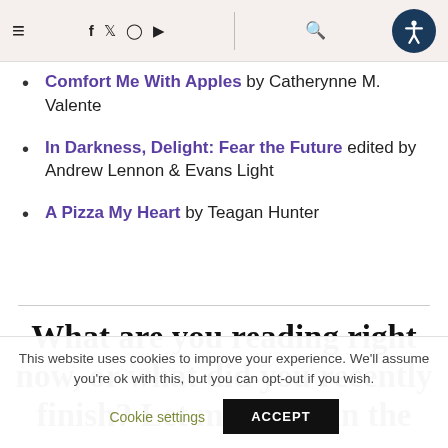Navigation bar with hamburger menu, social icons (f, twitter, instagram, youtube), search, and accessibility button
Comfort Me With Apples by Catherynne M. Valente
In Darkness, Delight: Fear the Future edited by Andrew Lennon & Evans Light
A Pizza My Heart by Teagan Hunter
What are you reading right now, or what did you recently finish? Let me know in the
This website uses cookies to improve your experience. We'll assume you're ok with this, but you can opt-out if you wish. Cookie settings ACCEPT